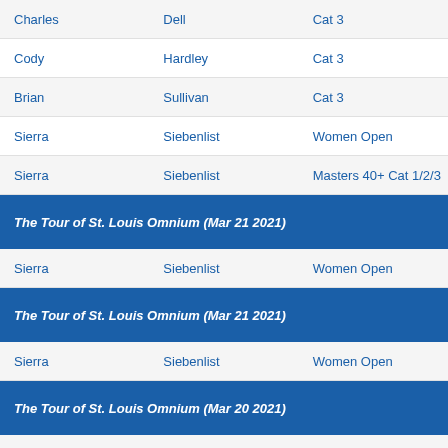| First | Last | Category |
| --- | --- | --- |
| Charles | Dell | Cat 3 |
| Cody | Hardley | Cat 3 |
| Brian | Sullivan | Cat 3 |
| Sierra | Siebenlist | Women Open |
| Sierra | Siebenlist | Masters 40+ Cat 1/2/3 |
The Tour of St. Louis Omnium (Mar 21 2021)
| First | Last | Category |
| --- | --- | --- |
| Sierra | Siebenlist | Women Open |
The Tour of St. Louis Omnium (Mar 21 2021)
| First | Last | Category |
| --- | --- | --- |
| Sierra | Siebenlist | Women Open |
The Tour of St. Louis Omnium (Mar 20 2021)
| First | Last | Category |
| --- | --- | --- |
| Sierra | Siebenlist | Women Open |
The Tour of St. Louis Omnium (Mar 20 2021)
| First | Last | Category |
| --- | --- | --- |
| Sierra | Siebenlist | Women Open |
Missouri State Championship Criterium (Aug 23 2020)
| First | Last | Category |
| --- | --- | --- |
| Sierra | Siebenlist | Women Open |